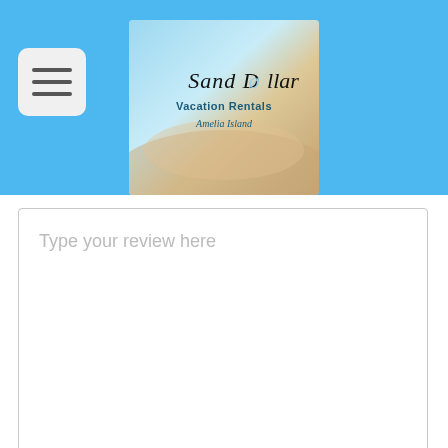[Figure (logo): Sand Dollar Vacation Rentals Amelia Island logo with beach/shell background]
Type your review here
Show your name
Submit Now